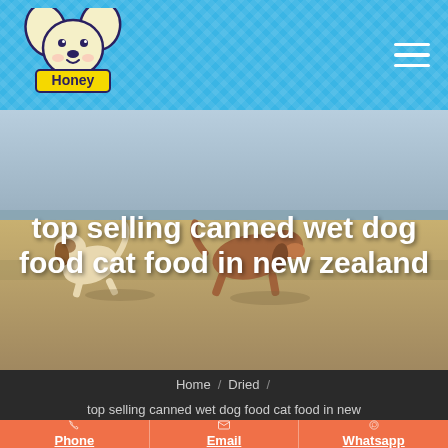[Figure (logo): Honey pet food brand logo — cartoon dog face above a yellow label reading 'Honey']
[Figure (photo): Two dogs running on a beach, sandy shore with water in background]
top selling canned wet dog food cat food in new zealand
Home / Dried /
top selling canned wet dog food cat food in new
Phone
Email
Whatsapp